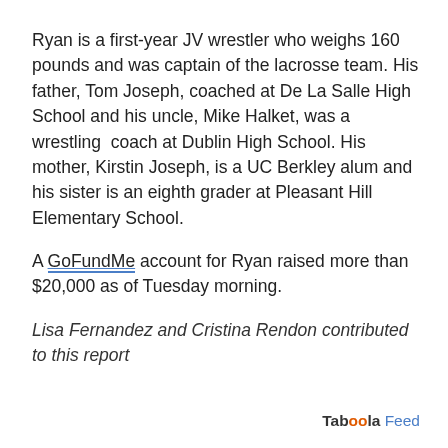Ryan is a first-year JV wrestler who weighs 160 pounds and was captain of the lacrosse team. His father, Tom Joseph, coached at De La Salle High School and his uncle, Mike Halket, was a wrestling  coach at Dublin High School. His mother, Kirstin Joseph, is a UC Berkley alum and his sister is an eighth grader at Pleasant Hill Elementary School.
A GoFundMe account for Ryan raised more than $20,000 as of Tuesday morning.
Lisa Fernandez and Cristina Rendon contributed to this report
Taboola Feed